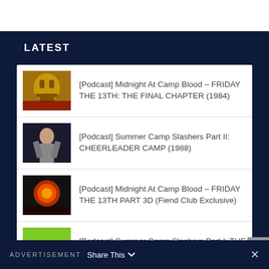LATEST
[Podcast] Midnight At Camp Blood – FRIDAY THE 13TH: THE FINAL CHAPTER (1984)
[Podcast] Summer Camp Slashers Part II: CHEERLEADER CAMP (1988)
[Podcast] Midnight At Camp Blood – FRIDAY THE 13TH PART 3D (Fiend Club Exclusive)
[Podcast] Summer Camp Slashers Part I: THE BURNING (1981)
ADVERTISEMENT  Share This  ✕